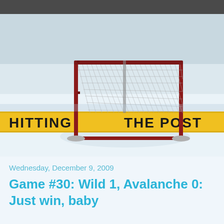[Figure (photo): Hockey net on ice rink with yellow boards reading 'HITTING THE POST' in large black letters. The net is a standard hockey goal with red posts and grey mesh netting, sitting on white ice. Yellow boards are visible in the background.]
Wednesday, December 9, 2009
Game #30: Wild 1, Avalanche 0: Just win, baby